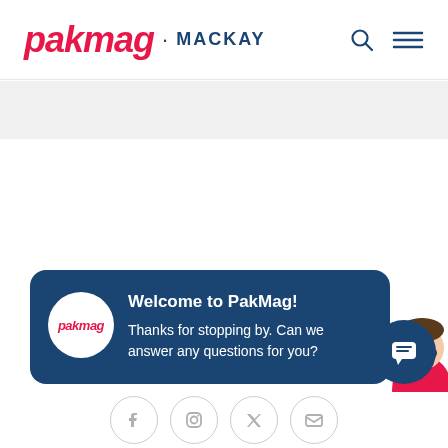pakmag · MACKAY
[Figure (screenshot): PakMag Mackay website screenshot showing header with logo, gray banner, chat popup, and social media icons at bottom]
Welcome to PakMag! Thanks for stopping by. Can we answer any questions for you?